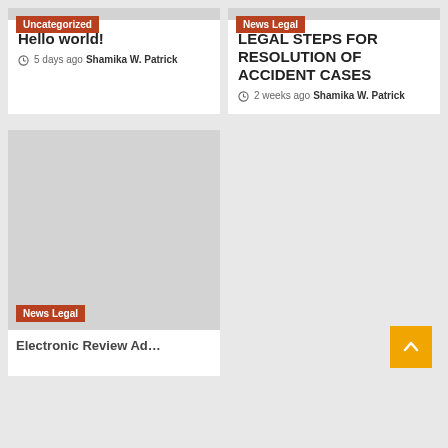[Figure (other): Card with Uncategorized badge on grey background]
Hello world!
5 days ago  Shamika W. Patrick
[Figure (other): Card with News Legal badge on grey background]
LEGAL STEPS FOR RESOLUTION OF ACCIDENT CASES
2 weeks ago  Shamika W. Patrick
[Figure (photo): Large grey placeholder image with News Legal badge at bottom left]
Electronic Review Ad...